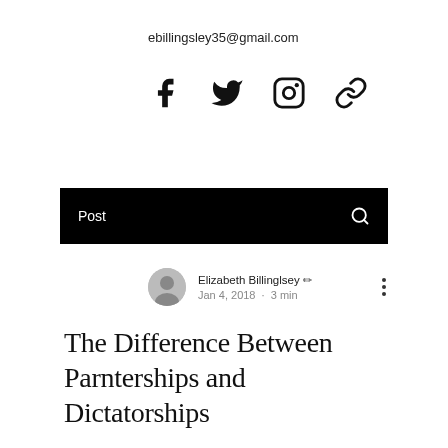ebillingsley35@gmail.com
[Figure (illustration): Social media icons: Facebook, Twitter, Instagram, and a link icon, in black]
Post
Elizabeth Billinglsey ✏
Jan 4, 2018 · 3 min
The Difference Between Parnterships and Dictatorships